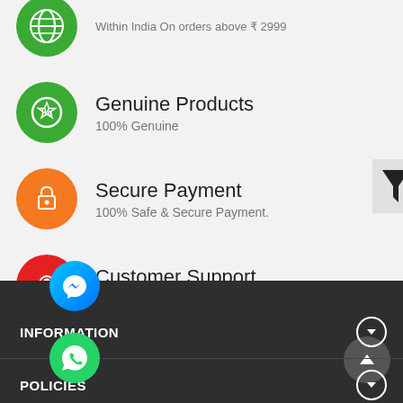[Figure (illustration): Green circle icon with globe symbol - partial, cropped at top]
Within India On orders above ₹ 2999
[Figure (illustration): Green circle icon with percentage/gear symbol]
Genuine Products
100% Genuine
[Figure (illustration): Orange circle icon with lock/bag symbol]
Secure Payment
100% Safe & Secure Payment.
[Figure (illustration): Red circle icon with customer support/face symbol]
Customer Support
Call +91-98662-82798.
[Figure (illustration): Blue Facebook Messenger icon circle]
[Figure (illustration): Green WhatsApp icon circle]
INFORMATION
POLICIES
WHOLESALE
KNOWLEDGE BASE